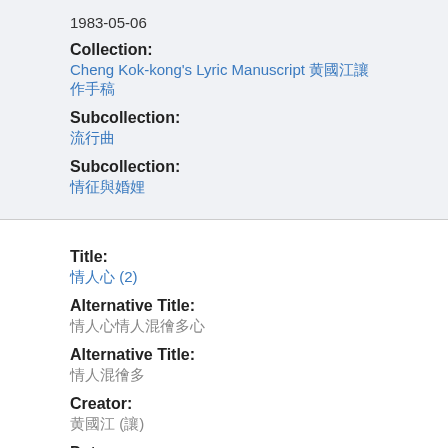1983-05-06
Collection:
Cheng Kok-kong's Lyric Manuscript 鄭國江詞作手稿
Subcollection:
流行曲
Subcollection:
情愛與婚姻
Title:
情人心 (2)
Alternative Title:
情人心情人淚幾多心
Alternative Title:
情人淚幾多
Creator:
鄭國江 (詞)
Date: